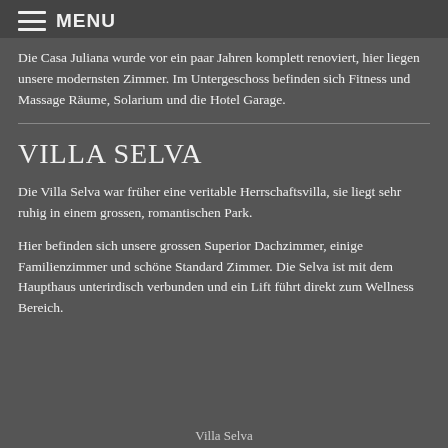≡ MENU
Die Casa Juliana wurde vor ein paar Jahren komplett renoviert, hier liegen unsere modernsten Zimmer. Im Untergeschoss befinden sich Fitness und Massage Räume, Solarium und die Hotel Garage.
VILLA SELVA
Die Villa Selva war früher eine veritable Herrschaftsvilla, sie liegt sehr ruhig in einem grossen, romantischen Park.
Hier befinden sich unsere grossen Superior Dachzimmer, einige Familienzimmer und schöne Standard Zimmer. Die Selva ist mit dem Haupthaus unterirdisch verbunden und ein Lift führt direkt zum Wellness Bereich.
Villa Selva